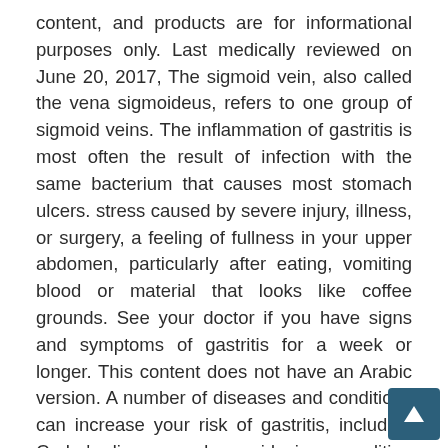content, and products are for informational purposes only. Last medically reviewed on June 20, 2017, The sigmoid vein, also called the vena sigmoideus, refers to one group of sigmoid veins. The inflammation of gastritis is most often the result of infection with the same bacterium that causes most stomach ulcers. stress caused by severe injury, illness, or surgery, a feeling of fullness in your upper abdomen, particularly after eating, vomiting blood or material that looks like coffee grounds. See your doctor if you have signs and symptoms of gastritis for a week or longer. This content does not have an Arabic version. A number of diseases and conditions can increase your risk of gastritis, including Crohn's disease and sarcoidosis, a condition in which collections of inflammatory cells grow in the body. Having a thin or damaged stomach lining raises your risk for gastritis. FDA drug safety communication: Possible increased risk of fractures